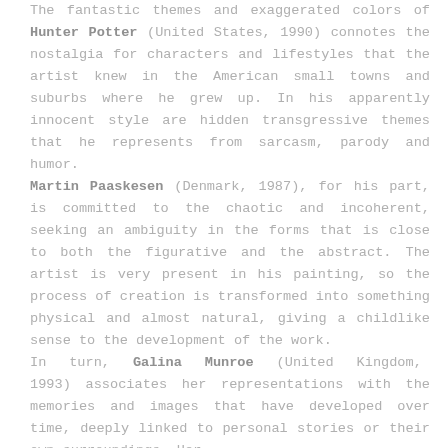The fantastic themes and exaggerated colors of Hunter Potter (United States, 1990) connotes the nostalgia for characters and lifestyles that the artist knew in the American small towns and suburbs where he grew up. In his apparently innocent style are hidden transgressive themes that he represents from sarcasm, parody and humor.
Martin Paaskesen (Denmark, 1987), for his part, is committed to the chaotic and incoherent, seeking an ambiguity in the forms that is close to both the figurative and the abstract. The artist is very present in his painting, so the process of creation is transformed into something physical and almost natural, giving a childlike sense to the development of the work.
In turn, Galina Munroe (United Kingdom, 1993) associates her representations with the memories and images that have developed over time, deeply linked to personal stories or their own surroundings. Her paintings express how the world is reflected and...